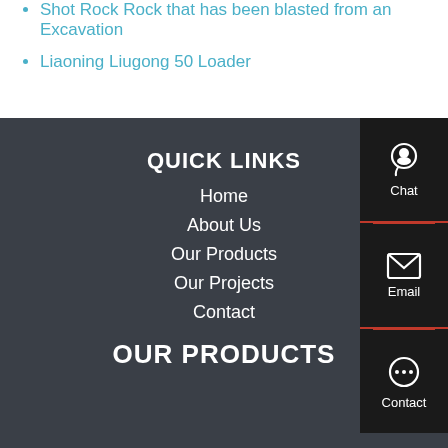Shot Rock Rock that has been blasted from an Excavation
Liaoning Liugong 50 Loader
QUICK LINKS
Home
About Us
Our Products
Our Projects
Contact
OUR PRODUCTS